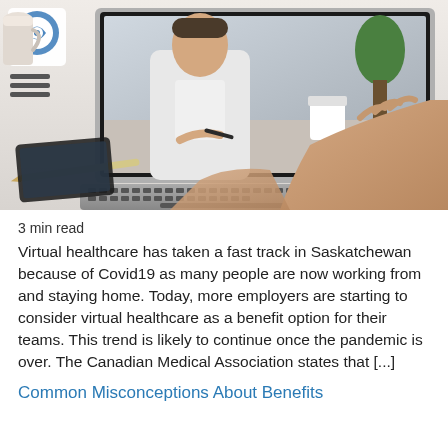[Figure (photo): Person typing on a laptop. The laptop screen shows a video call with a doctor in a white coat. A coffee cup, pen, tablet/phone, and plant are visible on the desk. A logo with a circular blue emblem is in the top-left corner with a hamburger menu icon below it.]
3 min read
Virtual healthcare has taken a fast track in Saskatchewan because of Covid19 as many people are now working from and staying home. Today, more employers are starting to consider virtual healthcare as a benefit option for their teams. This trend is likely to continue once the pandemic is over. The Canadian Medical Association states that [...]
Common Misconceptions About Benefits